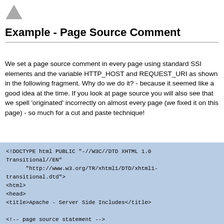[Figure (logo): Small grey pyramid/triangle logo in top-left corner]
Example - Page Source Comment
We set a page source comment in every page using standard SSI elements and the variable HTTP_HOST and REQUEST_URI as shown in the following fragment. Why do we do it? - because it seemed like a good idea at the time. If you look at page source you will also see that we spell 'originated' incorrectly on almost every page (we fixed it on this page) - so much for a cut and paste technique!
<!DOCTYPE html PUBLIC "-//W3C//DTD XHTML 1.0 Transitional//EN"
      "http://www.w3.org/TR/xhtml1/DTD/xhtml1-transitional.dtd">
<html>
<head>
<title>Apache - Server Side Includes</title>

<!-- page source statement -->
<!-- this page originated from http://<!--#echo
var="HTTP_HOST" --><!--#echo var="REQUEST_URI" --> -->

<!-- include files covering meta data javascript  CSS and